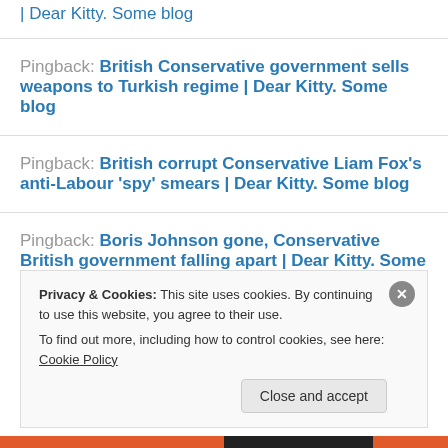| Dear Kitty. Some blog
Pingback: British Conservative government sells weapons to Turkish regime | Dear Kitty. Some blog
Pingback: British corrupt Conservative Liam Fox’s anti-Labour ‘spy’ smears | Dear Kitty. Some blog
Pingback: Boris Johnson gone, Conservative British government falling apart | Dear Kitty. Some blog
Privacy & Cookies: This site uses cookies. By continuing to use this website, you agree to their use.
To find out more, including how to control cookies, see here: Cookie Policy
Close and accept